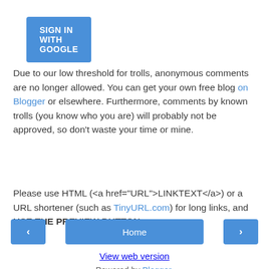[Figure (other): Blue button labeled SIGN IN WITH GOOGLE]
Due to our low threshold for trolls, anonymous comments are no longer allowed. You can get your own free blog on Blogger or elsewhere. Furthermore, comments by known trolls (you know who you are) will probably not be approved, so don't waste your time or mine.
Please use HTML (<a href="URL">LINKTEXT</a>) or a URL shortener (such as TinyURL.com) for long links, and USE THE PREVIEW BUTTON.
[Figure (other): Navigation bar with left arrow button, Home button, and right arrow button]
View web version
Powered by Blogger.